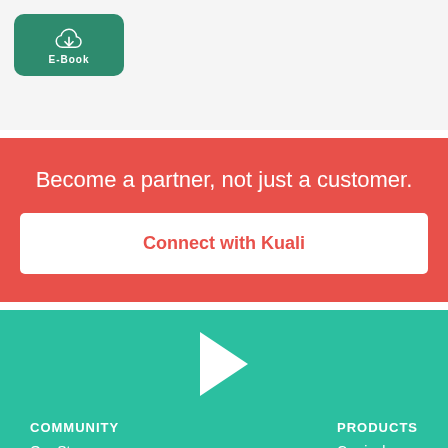[Figure (logo): E-Book button with cloud download icon on green rounded rectangle]
Become a partner, not just a customer.
Connect with Kuali
[Figure (logo): Kuali logo - white flag/K shape on teal background]
COMMUNITY
Our Story
PRODUCTS
Curriculum